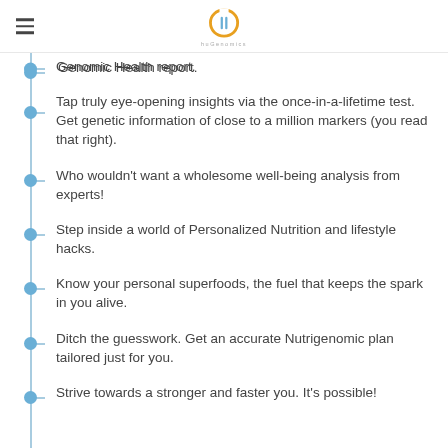huGenomics logo and hamburger menu
Genomic Health report.
Tap truly eye-opening insights via the once-in-a-lifetime test. Get genetic information of close to a million markers (you read that right).
Who wouldn't want a wholesome well-being analysis from experts!
Step inside a world of Personalized Nutrition and lifestyle hacks.
Know your personal superfoods, the fuel that keeps the spark in you alive.
Ditch the guesswork. Get an accurate Nutrigenomic plan tailored just for you.
Strive towards a stronger and faster you. It's possible!